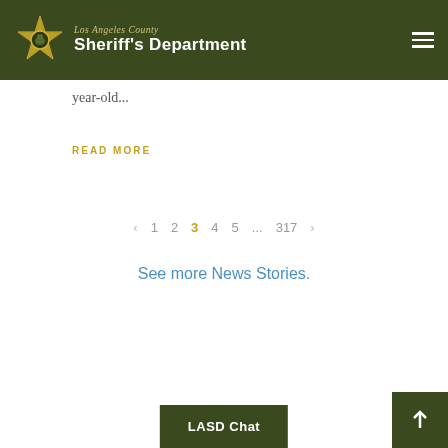Los Angeles County Sheriff's Department
year-old...
READ MORE
< 1 2 3 4 5 ... 317 >
See more News Stories.
LASD Chat